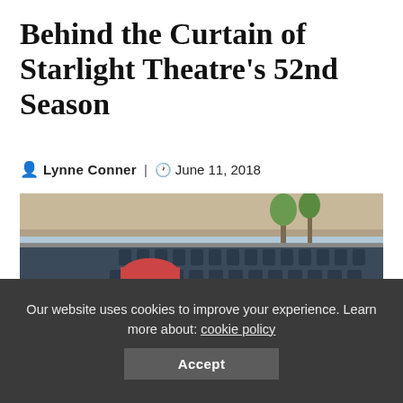Behind the Curtain of Starlight Theatre's 52nd Season
Lynne Conner | June 11, 2018
[Figure (photo): A man wearing a red bandana headband and round glasses, smiling and sitting among rows of dark blue folding theatre seats in an outdoor amphitheatre. He is wearing a mint green t-shirt.]
Our website uses cookies to improve your experience. Learn more about: cookie policy
Accept